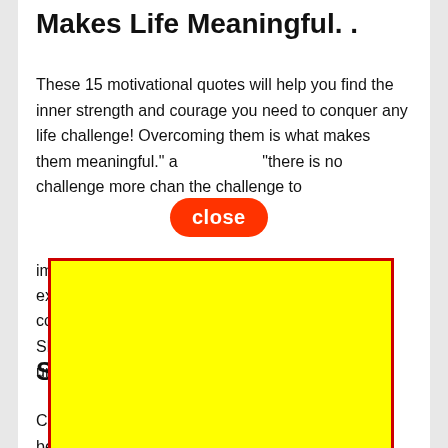Makes Life Meaningful. .
These 15 motivational quotes will help you find the inner strength and courage you need to conquer any life challenge! Overcoming them is what makes them meaningful." a “there is no challenge more challenging than the challenge to improve yourself." – Michael F. Staley experiencing a challenge first hand gives you the courage and no… Share these quotes with those around you and uncover the power within.
Sta[rt]...n.
Challenges are a part of life... [f to beat it.] Positive quotes about life challenges